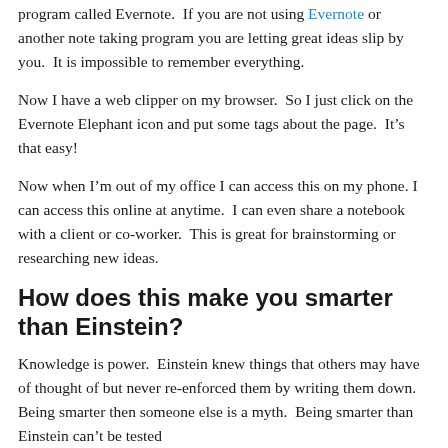program called Evernote.  If you are not using Evernote or another note taking program you are letting great ideas slip by you.  It is impossible to remember everything.
Now I have a web clipper on my browser.  So I just click on the Evernote Elephant icon and put some tags about the page.  It’s that easy!
Now when I’m out of my office I can access this on my phone. I can access this online at anytime.  I can even share a notebook with a client or co-worker.  This is great for brainstorming or researching new ideas.
How does this make you smarter than Einstein?
Knowledge is power.  Einstein knew things that others may have of thought of but never re-enforced them by writing them down. Being smarter then someone else is a myth.  Being smarter than Einstein can’t be tested